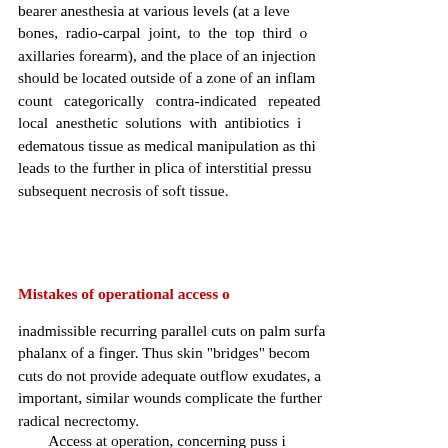bearer anesthesia at various levels (at a level bones, radio-carpal joint, to the top third axillaries forearm), and the place of an injection should be located outside of a zone of an inflam count categorically contra-indicated repeated local anesthetic solutions with antibiotics in edematous tissue as medical manipulation as thi leads to the further in plica of interstitial pressu subsequent necrosis of soft tissue.
Mistakes of operational access
inadmissible recurring parallel cuts on palm surfa phalanx of a finger. Thus skin "bridges" becom cuts do not provide adequate outflow exudates, a important, similar wounds complicate the further radical necrectomy.
Access at operation concerning puss i